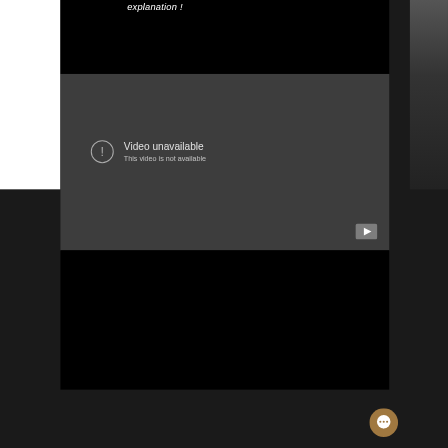explanation !
[Figure (screenshot): YouTube embedded video player showing 'Video unavailable - This video is not available' error message on dark grey background with warning icon and YouTube play button]
2015...and we imagine that they don't intend to stop there, that's for sure with a success of this magnitude. Pumped up the little guys once again !